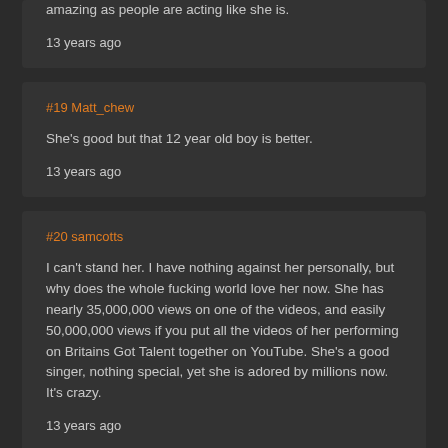amazing as people are acting like she is.
13 years ago
#19 Matt_chew
She's good but that 12 year old boy is better.
13 years ago
#20 samcotts
I can't stand her. I have nothing against her personally, but why does the whole fucking world love her now. She has nearly 35,000,000 views on one of the videos, and easily 50,000,000 views if you put all the videos of her performing on Britains Got Talent together on YouTube. She's a good singer, nothing special, yet she is adored by millions now. It's crazy.
13 years ago